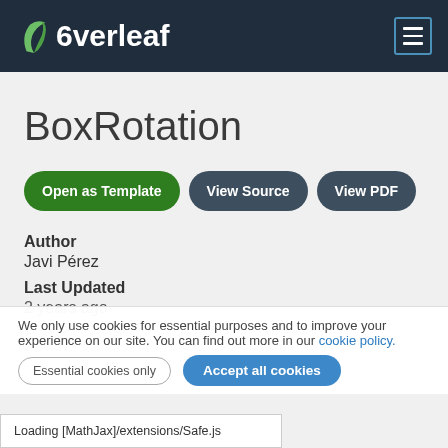Overleaf
BoxRotation
Open as Template
View Source
View PDF
Author
Javi Pérez
Last Updated
2 years ago
We only use cookies for essential purposes and to improve your experience on our site. You can find out more in our cookie policy.
Essential cookies only   Accept all cookies
Loading [MathJax]/extensions/Safe.js